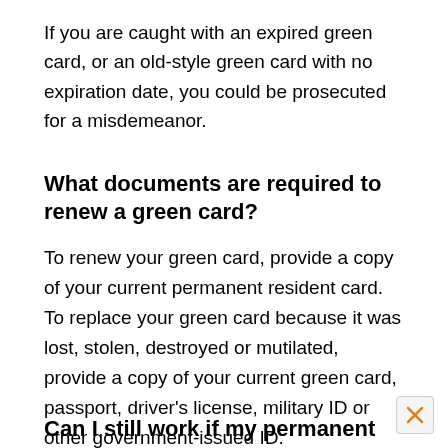If you are caught with an expired green card, or an old-style green card with no expiration date, you could be prosecuted for a misdemeanor.
What documents are required to renew a green card?
To renew your green card, provide a copy of your current permanent resident card. To replace your green card because it was lost, stolen, destroyed or mutilated, provide a copy of your current green card, passport, driver's license, military ID or other government-issued ID.
Can I still work if my permanent